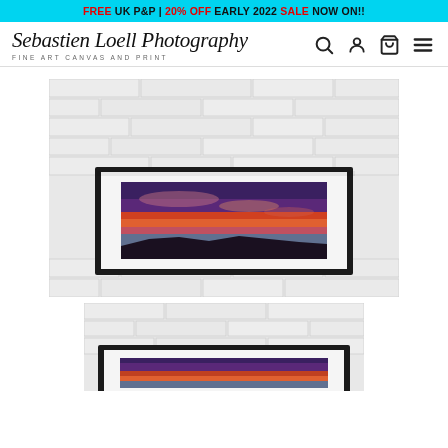FREE UK P&P | 20% OFF EARLY 2022 SALE NOW ON!!
[Figure (logo): Sebastien Loell Photography script logo with tagline FINE ART CANVAS AND PRINT and navigation icons (search, account, cart, menu)]
[Figure (photo): Framed panoramic sunset/twilight landscape photograph mounted on white brick wall. The photo shows a dramatic purple and orange sky over a dark silhouetted coastline, displayed in a black frame with white mat.]
[Figure (photo): Partial view of a second smaller framed version of the same sunset photograph on white brick wall background, cropped at bottom of page.]